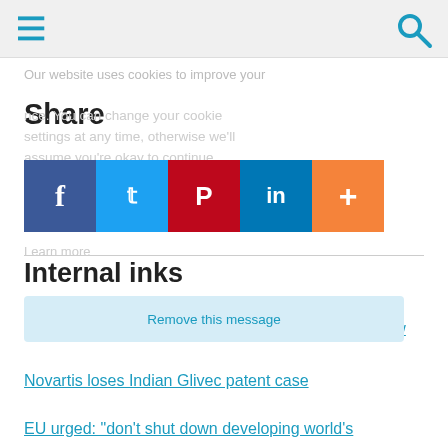Navigation header with hamburger menu and search icon
Our website uses cookies to improve your experience. You can change your cookie settings at any time, otherwise we'll assume you're okay to continue
Share
[Figure (infographic): Social share buttons: Facebook (blue), Twitter (light blue), Pinterest (red), LinkedIn (blue), Plus/More (orange)]
Internal inks
Remove this message
India allows generics of Merck & Co's Januvia for now
Novartis loses Indian Glivec patent case
EU urged: "don't shut down developing world's pharmacy"
Links
http://msfaccess.org